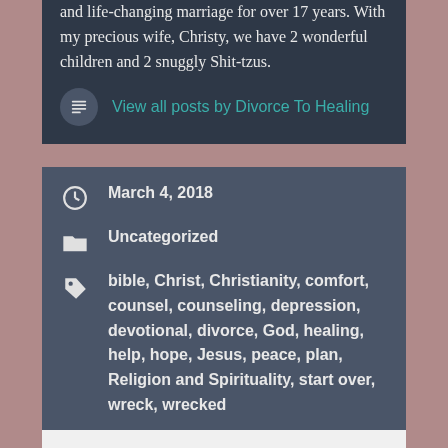and life-changing marriage for over 17 years. With my precious wife, Christy, we have 2 wonderful children and 2 snuggly Shit-tzus.
View all posts by Divorce To Healing
March 4, 2018
Uncategorized
bible, Christ, Christianity, comfort, counsel, counseling, depression, devotional, divorce, God, healing, help, hope, Jesus, peace, plan, Religion and Spirituality, start over, wreck, wrecked
Don't Settle
Patterns